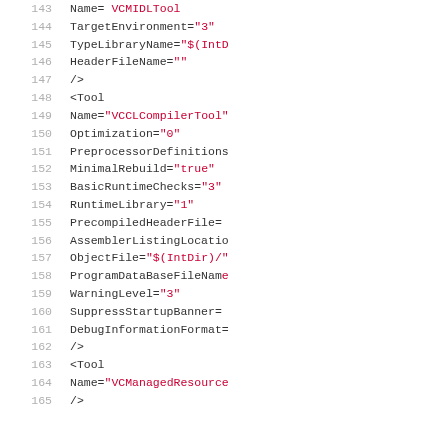Source code listing lines 143-165 showing XML tool configuration with VCMIDLTool, VCCLCompilerTool, and VCManagedResource tool entries
143   Name= VCMIDLTool
144   TargetEnvironment="3"
145   TypeLibraryName="$(IntD
146   HeaderFileName=""
147   />
148   <Tool
149   Name="VCCLCompilerTool"
150   Optimization="0"
151   PreprocessorDefinitions
152   MinimalRebuild="true"
153   BasicRuntimeChecks="3"
154   RuntimeLibrary="1"
155   PrecompiledHeaderFile=
156   AssemblerListingLocatio
157   ObjectFile="$(IntDir)/"
158   ProgramDataBaseFileName
159   WarningLevel="3"
160   SuppressStartupBanner=
161   DebugInformationFormat=
162   />
163   <Tool
164   Name="VCManagedResource
165   />